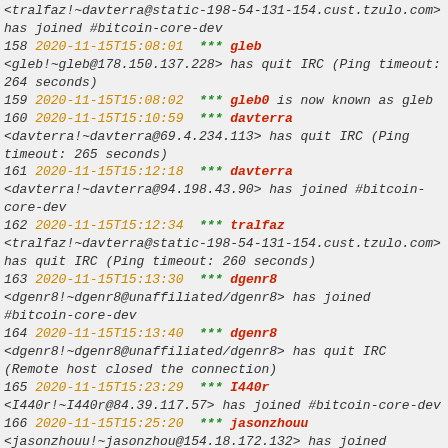<tralfaz!~davterra@static-198-54-131-154.cust.tzulo.com> has joined #bitcoin-core-dev
158 2020-11-15T15:08:01 *** gleb <gleb!~gleb@178.150.137.228> has quit IRC (Ping timeout: 264 seconds)
159 2020-11-15T15:08:02 *** gleb0 is now known as gleb
160 2020-11-15T15:10:59 *** davterra <davterra!~davterra@69.4.234.113> has quit IRC (Ping timeout: 265 seconds)
161 2020-11-15T15:12:18 *** davterra <davterra!~davterra@94.198.43.90> has joined #bitcoin-core-dev
162 2020-11-15T15:12:34 *** tralfaz <tralfaz!~davterra@static-198-54-131-154.cust.tzulo.com> has quit IRC (Ping timeout: 260 seconds)
163 2020-11-15T15:13:30 *** dgenr8 <dgenr8!~dgenr8@unaffiliated/dgenr8> has joined #bitcoin-core-dev
164 2020-11-15T15:13:40 *** dgenr8 <dgenr8!~dgenr8@unaffiliated/dgenr8> has quit IRC (Remote host closed the connection)
165 2020-11-15T15:23:29 *** I440r <I440r!~I440r@84.39.117.57> has joined #bitcoin-core-dev
166 2020-11-15T15:25:20 *** jasonzhouu <jasonzhouu!~jasonzhou@154.18.172.132> has joined